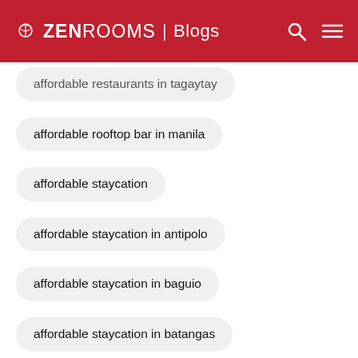ZEN ROOMS | Blogs
affordable restaurants in tagaytay
affordable rooftop bar in manila
affordable staycation
affordable staycation in antipolo
affordable staycation in baguio
affordable staycation in batangas
affordable staycation in laguna
affordable staycation in manila
affordable staycation in manila with pool